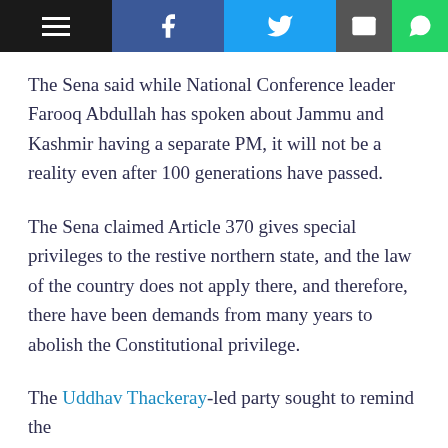[Navigation bar with hamburger menu, Facebook, Twitter, Email, WhatsApp icons]
The Sena said while National Conference leader Farooq Abdullah has spoken about Jammu and Kashmir having a separate PM, it will not be a reality even after 100 generations have passed.
The Sena claimed Article 370 gives special privileges to the restive northern state, and the law of the country does not apply there, and therefore, there have been demands from many years to abolish the Constitutional privilege.
The Uddhav Thackeray-led party sought to remind the